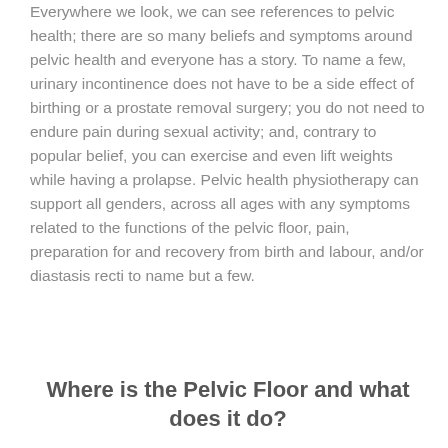Everywhere we look, we can see references to pelvic health; there are so many beliefs and symptoms around pelvic health and everyone has a story. To name a few, urinary incontinence does not have to be a side effect of birthing or a prostate removal surgery; you do not need to endure pain during sexual activity; and, contrary to popular belief, you can exercise and even lift weights while having a prolapse. Pelvic health physiotherapy can support all genders, across all ages with any symptoms related to the functions of the pelvic floor, pain, preparation for and recovery from birth and labour, and/or diastasis recti to name but a few.
Where is the Pelvic Floor and what does it do?